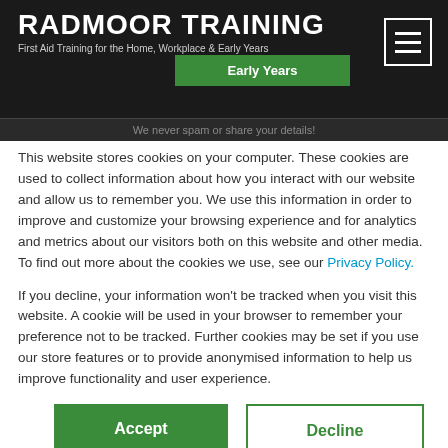RADMOOR TRAINING
First Aid Training for the Home, Workplace & Early Years
We never spam or share your details!
This website stores cookies on your computer. These cookies are used to collect information about how you interact with our website and allow us to remember you. We use this information in order to improve and customize your browsing experience and for analytics and metrics about our visitors both on this website and other media. To find out more about the cookies we use, see our Privacy Policy.
If you decline, your information won't be tracked when you visit this website. A cookie will be used in your browser to remember your preference not to be tracked. Further cookies may be set if you use our store features or to provide anonymised information to help us improve functionality and user experience.